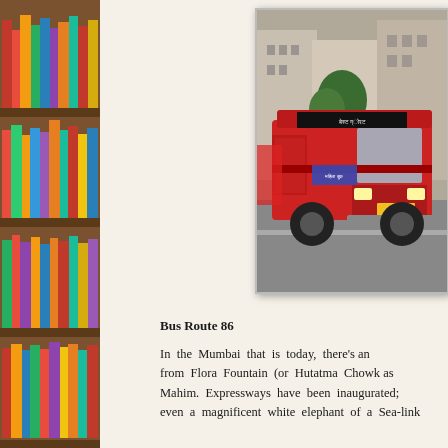[Figure (photo): Red BEST bus on a Mumbai street with colonial architecture in the background. The bus has route indicators in Hindi script and a yellow license plate.]
Bus Route 86
In the Mumbai that is today, there’s an from Flora Fountain (or Hutatma Chowk as Mahim. Expressways have been inaugurated; even a magnificent white elephant of a Sea-link